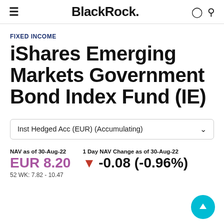BlackRock.
FIXED INCOME
iShares Emerging Markets Government Bond Index Fund (IE)
Inst Hedged Acc (EUR) (Accumulating)
NAV as of 30-Aug-22
EUR 8.20
52 WK: 7.82 - 10.47
1 Day NAV Change as of 30-Aug-22
-0.08 (-0.96%)